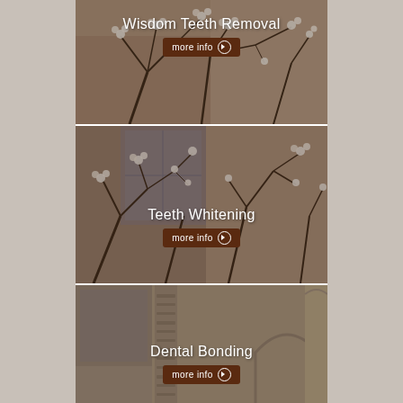[Figure (screenshot): Dental service panel 1: background photo of flowering tree branches against a stone building wall. Overlay text 'Wisdom Teeth Removal' with a dark brown 'more info' button with arrow icon.]
[Figure (screenshot): Dental service panel 2: background photo of flowering tree branches against a stone building with windows. Overlay text 'Teeth Whitening' with a dark brown 'more info' button with arrow icon.]
[Figure (screenshot): Dental service panel 3: background photo of stone building architectural detail with arched doorway and ornate column. Overlay text 'Dental Bonding' with a dark brown 'more info' button with arrow icon.]